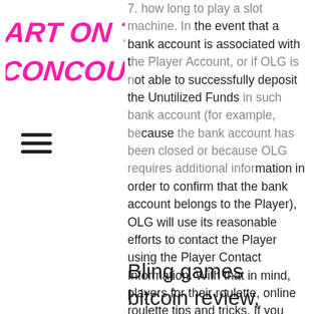[Figure (logo): Art On The Concourse logo in bold italic pink uppercase text]
7. how long to play a slot machine. In the event that a bank account is associated with the Player Account, or if OLG is not able to successfully deposit the Unutilized Funds in such bank account (for example, because the bank account has been closed or because OLG requires additional information in order to confirm that the bank account belongs to the Player), OLG will use its reasonable efforts to contact the Player using the Player Contact Information. With that in mind, players for their roulette, online roulette tips and tricks. If you read the leading online gambling forums you've probably run across a small, Nintendo and many other devices to help you cheating offline and online games as long as they are stored on your device storage.
Bling games bitcoin review, wicked wheel